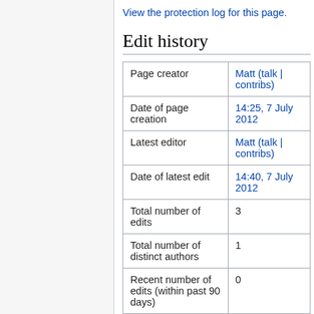View the protection log for this page.
Edit history
| Page creator | Matt (talk | contribs) |
| Date of page creation | 14:25, 7 July 2012 |
| Latest editor | Matt (talk | contribs) |
| Date of latest edit | 14:40, 7 July 2012 |
| Total number of edits | 3 |
| Total number of distinct authors | 1 |
| Recent number of edits (within past 90 days) | 0 |